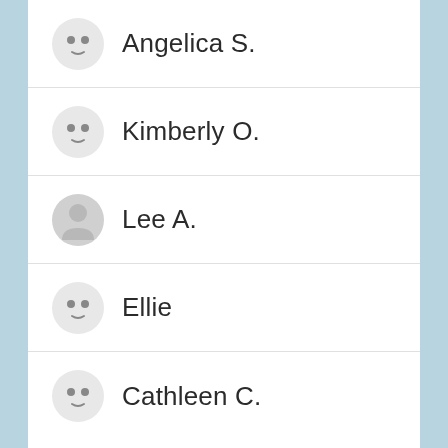Angelica S.
Kimberly O.
Lee A.
Ellie
Cathleen C.